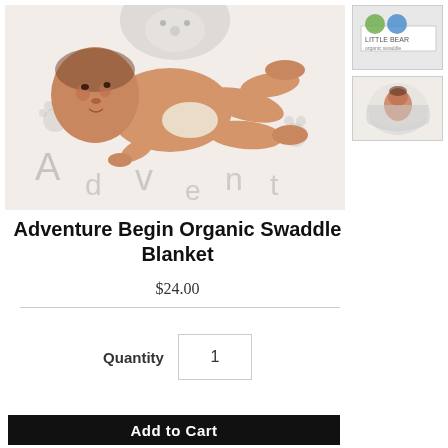[Figure (photo): Newborn baby lying on back on a white muslin swaddle blanket with gray bear/animal print design. Baby is wearing a diaper and looking slightly to one side. Background shows the full blanket pattern with paw prints and animal faces.]
[Figure (photo): Small thumbnail image showing product label/logo for the blanket.]
[Figure (photo): Small thumbnail image showing the swaddle blanket wrapped around a baby.]
Adventure Begin Organic Swaddle Blanket
$24.00
Quantity  1
Add to Cart